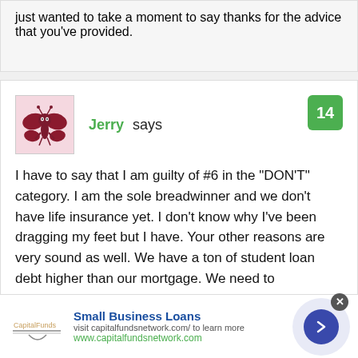just wanted to take a moment to say thanks for the advice that you’ve provided.
Jerry says
14
I have to say that I am guilty of #6 in the “DON’T” category. I am the sole breadwinner and we don’t have life insurance yet. I don’t know why I’ve been dragging my feet but I have. Your other reasons are very sound as well. We have a ton of student loan debt higher than our mortgage. We need to
Small Business Loans
visit capitalfundsnetwork.com/ to learn more
www.capitalfundsnetwork.com